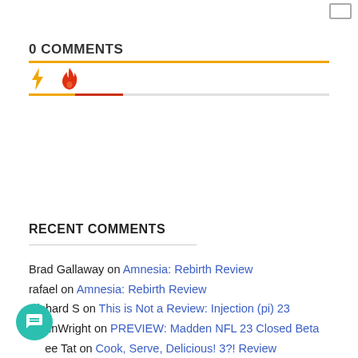0 COMMENTS
RECENT COMMENTS
Brad Gallaway on Amnesia: Rebirth Review
rafael on Amnesia: Rebirth Review
Richard S on This is Not a Review: Injection (pi) 23
inWright on PREVIEW: Madden NFL 23 Closed Beta
ee Tat on Cook, Serve, Delicious! 3?! Review
Aggnog on Hollow Knight Review